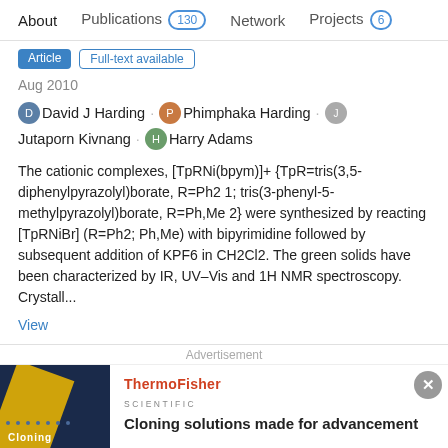About  Publications 130  Network  Projects 6
Article  Full-text available
Aug 2010
David J Harding · Phimphaka Harding · Jutaporn Kivnang · Harry Adams
The cationic complexes, [TpRNi(bpym)]+ {TpR=tris(3,5-diphenylpyrazolyl)borate, R=Ph2 1; tris(3-phenyl-5-methylpyrazolyl)borate, R=Ph,Me 2} were synthesized by reacting [TpRNiBr] (R=Ph2; Ph,Me) with bipyrimidine followed by subsequent addition of KPF6 in CH2Cl2. The green solids have been characterized by IR, UV–Vis and 1H NMR spectroscopy. Crystall...
View
Advertisement
[Figure (other): ThermoFisher Scientific advertisement banner with dark blue background image showing cloning imagery and the headline 'Cloning solutions made for advancement']